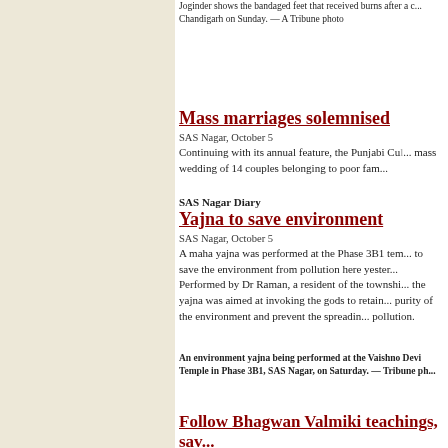Joginder shows the bandaged feet that received burns after a c... Chandigarh on Sunday. — A Tribune photo
Mass marriages solemnised
SAS Nagar, October 5 Continuing with its annual feature, the Punjabi Cu... mass wedding of 14 couples belonging to poor fam...
SAS Nagar Diary
Yajna to save environment
SAS Nagar, October 5 A maha yajna was performed at the Phase 3B1 tem... to save the environment from pollution here yester... Performed by Dr Raman, a resident of the townshi... the yajna was aimed at invoking the gods to retain... purity of the environment and prevent the spreadin... pollution.
An environment yajna being performed at the Vaishno Devi Temple in Phase 3B1, SAS Nagar, on Saturday. — Tribune ph...
Follow Bhagwan Valmiki teachings, sav...